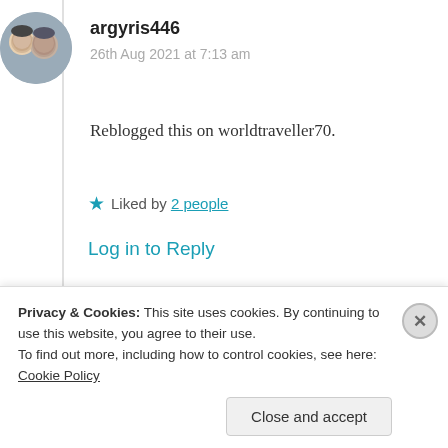[Figure (photo): Round avatar photo of two people, argyris446 profile picture]
argyris446
26th Aug 2021 at 7:13 am
Reblogged this on worldtraveller70.
★ Liked by 2 people
Log in to Reply
[Figure (photo): Round avatar photo of Suma Reddy]
Suma Reddy
Privacy & Cookies: This site uses cookies. By continuing to use this website, you agree to their use.
To find out more, including how to control cookies, see here: Cookie Policy
Close and accept